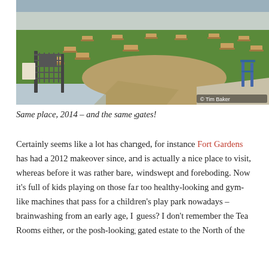[Figure (photo): Outdoor park area with multiple wooden picnic tables scattered across a green lawn. In the foreground is an iron gate and sandy ground area. A waterfront or harbour is visible in the background. Copyright watermark: © Tim Baker.]
Same place, 2014 – and the same gates!
Certainly seems like a lot has changed, for instance Fort Gardens has had a 2012 makeover since, and is actually a nice place to visit, whereas before it was rather bare, windswept and foreboding. Now it's full of kids playing on those far too healthy-looking and gym-like machines that pass for a children's play park nowadays – brainwashing from an early age, I guess? I don't remember the Tea Rooms either, or the posh-looking gated estate to the North of the